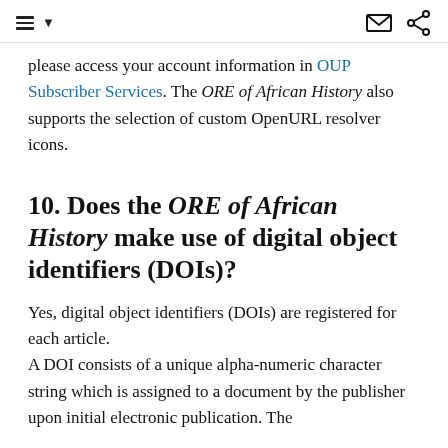≡ ▾  [envelope icon] [share icon]
please access your account information in OUP Subscriber Services. The ORE of African History also supports the selection of custom OpenURL resolver icons.
10. Does the ORE of African History make use of digital object identifiers (DOIs)?
Yes, digital object identifiers (DOIs) are registered for each article.
A DOI consists of a unique alpha-numeric character string which is assigned to a document by the publisher upon initial electronic publication. The